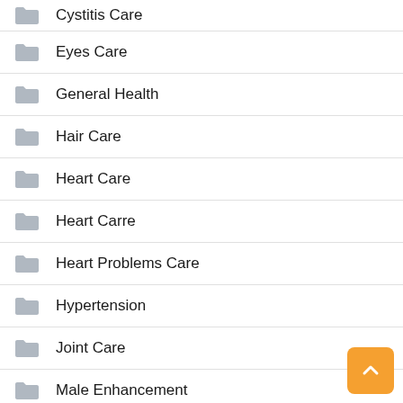Cystitis Care
Eyes Care
General Health
Hair Care
Heart Care
Heart Carre
Heart Problems Care
Hypertension
Joint Care
Male Enhancement
News